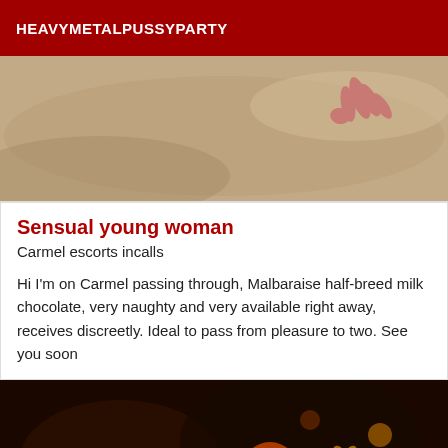HEAVYMETALPUSSYPARTY
[Figure (photo): Close-up photo of sand or textured surface with a hand visible in the upper right corner]
Sensual young woman
Carmel escorts incalls
Hi I'm on Carmel passing through, Malbaraise half-breed milk chocolate, very naughty and very available right away, receives discreetly. Ideal to pass from pleasure to two. See you soon
[Figure (photo): Dark bokeh photo with warm orange and yellow heart-shaped light circles and a blurred face]